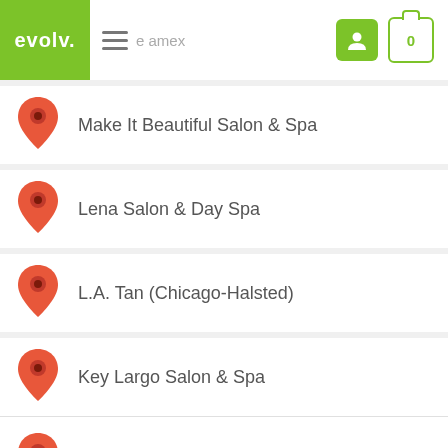evolv. | e amex | 0
Make It Beautiful Salon & Spa
Lena Salon & Day Spa
L.A. Tan (Chicago-Halsted)
Key Largo Salon & Spa
Jamie Patopoff